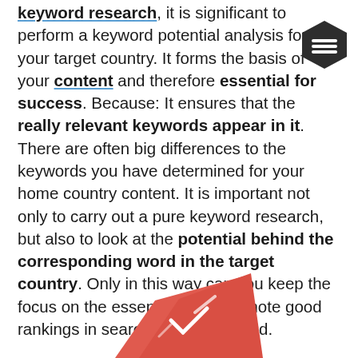keyword research, it is significant to perform a keyword potential analysis for your target country. It forms the basis of your content and therefore essential for success. Because: It ensures that the really relevant keywords appear in it. There are often big differences to the keywords you have determined for your home country content. It is important not only to carry out a pure keyword research, but also to look at the potential behind the corresponding word in the target country. Only in this way can you keep the focus on the essentials and promote good rankings in search engines abroad.
[Figure (illustration): Red/coral colored tag or label illustration with checkmark or graphic element on it, partially visible at bottom of page]